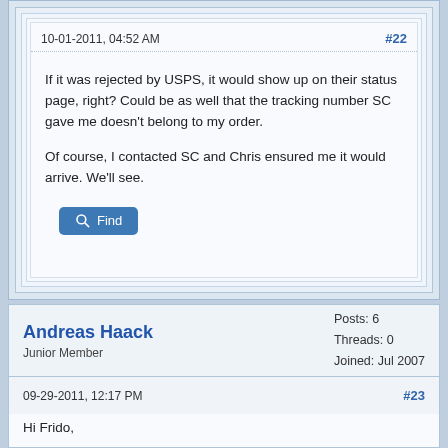10-01-2011, 04:52 AM
#22
If it was rejected by USPS, it would show up on their status page, right? Could be as well that the tracking number SC gave me doesn't belong to my order.
Of course, I contacted SC and Chris ensured me it would arrive. We'll see.
Andreas Haack
Junior Member
Posts: 6
Threads: 0
Joined: Jul 2007
09-29-2011, 12:17 PM
#23
Hi Frido,